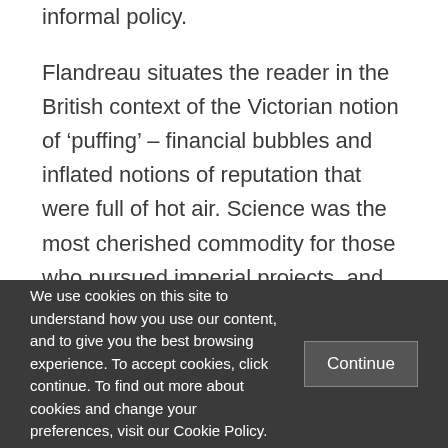informal policy.
Flandreau situates the reader in the British context of the Victorian notion of ‘puffing’ – financial bubbles and inflated notions of reputation that were full of hot air. Science was the most cherished commodity for those who pursued imperial projects, and explorers in London ensured the two went hand-in-hand. As some members found
We use cookies on this site to understand how you use our content, and to give you the best browsing experience. To accept cookies, click continue. To find out more about cookies and change your preferences, visit our Cookie Policy.